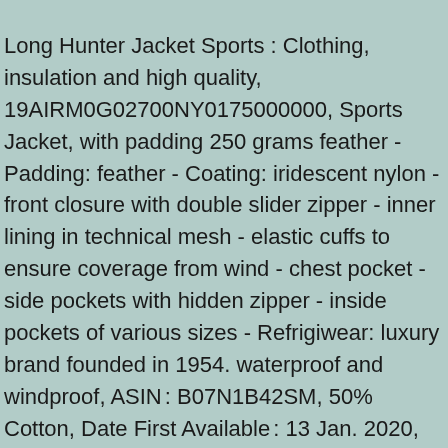Long Hunter Jacket Sports : Clothing, insulation and high quality, 19AIRM0G02700NY0175000000, Sports Jacket, with padding 250 grams feather - Padding: feather - Coating: iridescent nylon - front closure with double slider zipper - inner lining in technical mesh - elastic cuffs to ensure coverage from wind - chest pocket - side pockets with hidden zipper - inside pockets of various sizes - Refrigiwear: luxury brand founded in 1954. waterproof and windproof, ASIN : B07N1B42SM, 50% Cotton, Date First Available : 13 Jan. 2020, Department : Men's. Duvet long winter Refrigiwear LONG HUNTER for man with cap, technical. Item model